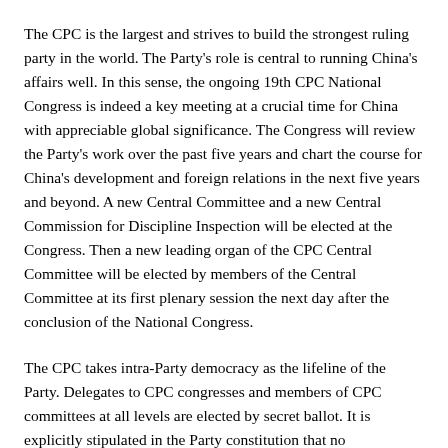The CPC is the largest and strives to build the strongest ruling party in the world. The Party's role is central to running China's affairs well. In this sense, the ongoing 19th CPC National Congress is indeed a key meeting at a crucial time for China with appreciable global significance. The Congress will review the Party's work over the past five years and chart the course for China's development and foreign relations in the next five years and beyond. A new Central Committee and a new Central Commission for Discipline Inspection will be elected at the Congress. Then a new leading organ of the CPC Central Committee will be elected by members of the Central Committee at its first plenary session the next day after the conclusion of the National Congress.
The CPC takes intra-Party democracy as the lifeline of the Party. Delegates to CPC congresses and members of CPC committees at all levels are elected by secret ballot. It is explicitly stipulated in the Party constitution that no organization or individual shall in any way compel voters to elect or not elect any particular candidate. In about